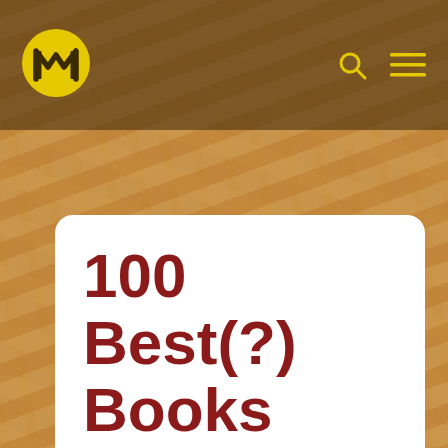[Figure (logo): Yellow circular logo with stylized MH letters in dark, placed in the top-left of header bar]
[Figure (illustration): Jupiter-like swirling tan/brown texture background filling the page]
100 Best(?) Books
by Mayumi-H | Jun 1, 2017 | It's My Life | 6 comments